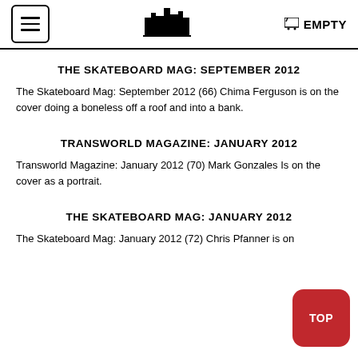[hamburger menu] [logo] EMPTY
THE SKATEBOARD MAG: SEPTEMBER 2012
The Skateboard Mag: September 2012 (66) Chima Ferguson is on the cover doing a boneless off a roof and into a bank.
TRANSWORLD MAGAZINE: JANUARY 2012
Transworld Magazine: January 2012 (70) Mark Gonzales Is on the cover as a portrait.
THE SKATEBOARD MAG: JANUARY 2012
The Skateboard Mag: January 2012 (72) Chris Pfanner is on